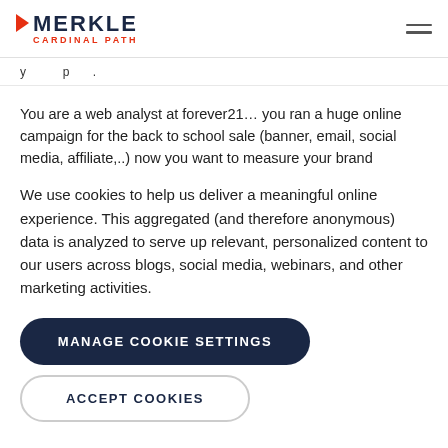MERKLE CARDINAL PATH
You are a web analyst at forever21… you ran a huge online campaign for the back to school sale (banner, email, social media, affiliate,..) now you want to measure your brand
We use cookies to help us deliver a meaningful online experience. This aggregated (and therefore anonymous) data is analyzed to serve up relevant, personalized content to our users across blogs, social media, webinars, and other marketing activities.
MANAGE COOKIE SETTINGS
ACCEPT COOKIES